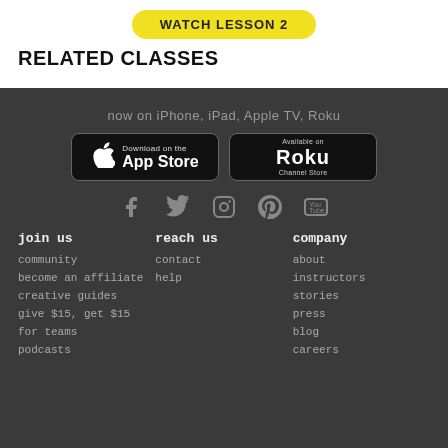WATCH LESSON 2
RELATED CLASSES
now on iPhone, iPad, Apple TV, Roku
[Figure (screenshot): App Store and Roku Channel Store download buttons]
[Figure (infographic): Social media icons: Facebook, Twitter, Instagram, Pinterest, YouTube]
join us
reach us
company
community
contact
about
become an affiliate
help
instructors
creative guides
stories
give $15, get $15
press
for teams
blog
podcasts
careers